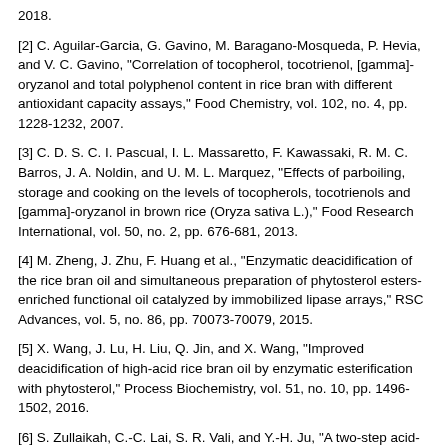2018.
[2] C. Aguilar-Garcia, G. Gavino, M. Baragano-Mosqueda, P. Hevia, and V. C. Gavino, "Correlation of tocopherol, tocotrienol, [gamma]-oryzanol and total polyphenol content in rice bran with different antioxidant capacity assays," Food Chemistry, vol. 102, no. 4, pp. 1228-1232, 2007.
[3] C. D. S. C. I. Pascual, I. L. Massaretto, F. Kawassaki, R. M. C. Barros, J. A. Noldin, and U. M. L. Marquez, "Effects of parboiling, storage and cooking on the levels of tocopherols, tocotrienols and [gamma]-oryzanol in brown rice (Oryza sativa L.)," Food Research International, vol. 50, no. 2, pp. 676-681, 2013.
[4] M. Zheng, J. Zhu, F. Huang et al., "Enzymatic deacidification of the rice bran oil and simultaneous preparation of phytosterol esters-enriched functional oil catalyzed by immobilized lipase arrays," RSC Advances, vol. 5, no. 86, pp. 70073-70079, 2015.
[5] X. Wang, J. Lu, H. Liu, Q. Jin, and X. Wang, "Improved deacidification of high-acid rice bran oil by enzymatic esterification with phytosterol," Process Biochemistry, vol. 51, no. 10, pp. 1496-1502, 2016.
[6] S. Zullaikah, C.-C. Lai, S. R. Vali, and Y.-H. Ju, "A two-step acid-catalyzed process for the production of biodiesel from rice bran oil," Bioresource Technology, vol. 96, no. 17, pp. 1889-1896, 2005.
[7] G. Mahua, "Review on recent trends in rice bran oil processing," Journal of the American Oil Chemists Society, vol. 84, no. 4, pp. 315-324, 2007.